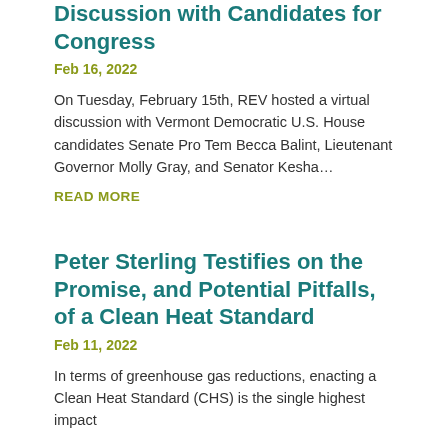Discussion with Candidates for Congress
Feb 16, 2022
On Tuesday, February 15th, REV hosted a virtual discussion with Vermont Democratic U.S. House candidates Senate Pro Tem Becca Balint, Lieutenant Governor Molly Gray, and Senator Kesha…
READ MORE
Peter Sterling Testifies on the Promise, and Potential Pitfalls, of a Clean Heat Standard
Feb 11, 2022
In terms of greenhouse gas reductions, enacting a Clean Heat Standard (CHS) is the single highest impact